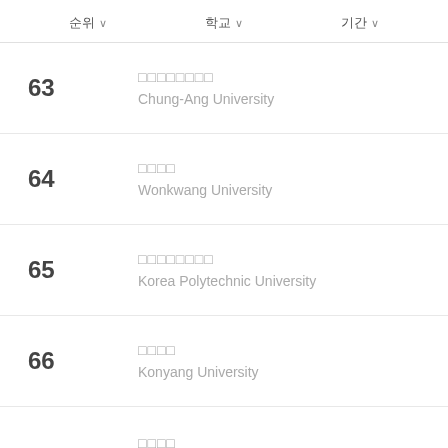순위  학교  기간
63 중앙대학교 Chung-Ang University
64 원광대학교 Wonkwang University
65 한국기술교육대학교 Korea Polytechnic University
66 건양대학교 Konyang University
67 (partial)